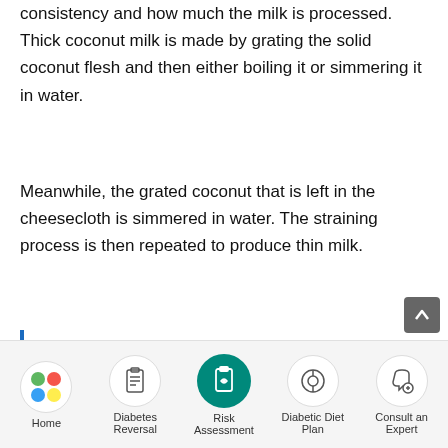consistency and how much the milk is processed. Thick coconut milk is made by grating the solid coconut flesh and then either boiling it or simmering it in water.
Meanwhile, the grated coconut that is left in the cheesecloth is simmered in water. The straining process is then repeated to produce thin milk.
Also Read: Health Benefits of Clove
Benefits of Coconut Water
Coconut water is not only good in taste but it also has
Home  Diabetes Reversal  Risk Assessment  Diabetic Diet Plan  Consult an Expert